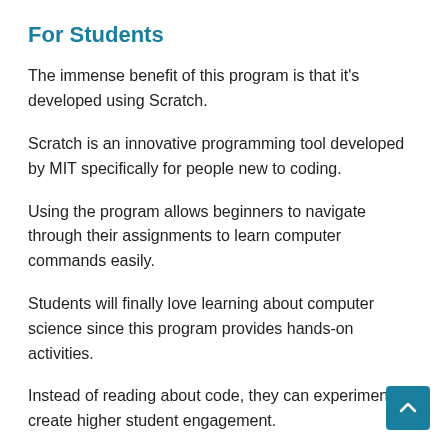For Students
The immense benefit of this program is that it's developed using Scratch.
Scratch is an innovative programming tool developed by MIT specifically for people new to coding.
Using the program allows beginners to navigate through their assignments to learn computer commands easily.
Students will finally love learning about computer science since this program provides hands-on activities.
Instead of reading about code, they can experiment to create higher student engagement.